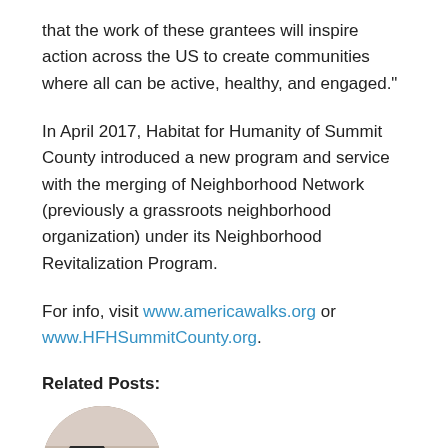that the work of these grantees will inspire action across the US to create communities where all can be active, healthy, and engaged."
In April 2017, Habitat for Humanity of Summit County introduced a new program and service with the merging of Neighborhood Network (previously a grassroots neighborhood organization) under its Neighborhood Revitalization Program.
For info, visit www.americawalks.org or www.HFHSummitCounty.org.
Related Posts:
[Figure (photo): Circular thumbnail photo showing people working on the floor, appears to be a community or habitat project]